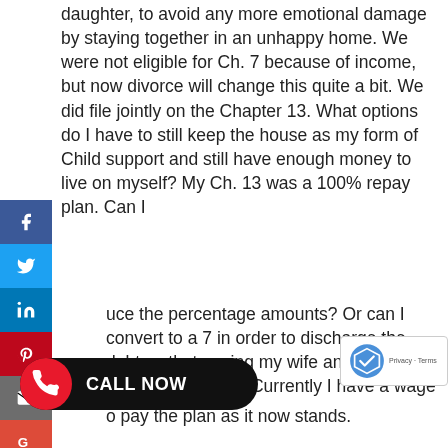daughter, to avoid any more emotional damage by staying together in an unhappy home. We were not eligible for Ch. 7 because of income, but now divorce will change this quite a bit. We did file jointly on the Chapter 13. What options do I have to still keep the house as my form of Child support and still have enough money to live on myself? My Ch. 13 was a 100% repay plan. Can I reduce the percentage amounts? Or can I convert to a 7 in order to discharge the debt so that paying my wife and support will be and option. Currently I have a wage [garnish] to pay the plan as it now stands.
You should speak to both your divorce attorney and bankruptcy lawyer. It is possible to convert the case, or even to split the cases into 2 separate cases if one party wants to convert to chapter 7. You would have to have enough combined monthly expenses to eat up the disposable income on a conversion. There are other budget test and asset protection issues as well, so sit